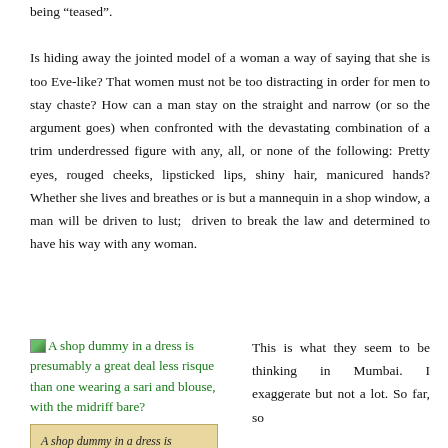being “teased”.

Is hiding away the jointed model of a woman a way of saying that she is too Eve-like? That women must not be too distracting in order for men to stay chaste? How can a man stay on the straight and narrow (or so the argument goes) when confronted with the devastating combination of a trim underdressed figure with any, all, or none of the following: Pretty eyes, rouged cheeks, lipsticked lips, shiny hair, manicured hands? Whether she lives and breathes or is but a mannequin in a shop window, a man will be driven to lust; driven to break the law and determined to have his way with any woman.
[Figure (illustration): Small image icon followed by green hyperlink text: A shop dummy in a dress is presumably a great deal less risque than one wearing a sari and blouse, with the midriff bare?]
A shop dummy in a dress is presumably a great deal less risque than one wearing a
This is what they seem to be thinking in Mumbai. I exaggerate but not a lot. So far, so